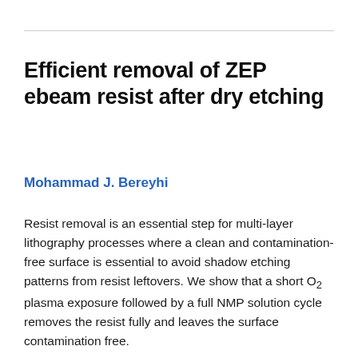Efficient removal of ZEP ebeam resist after dry etching
Mohammad J. Bereyhi
Resist removal is an essential step for multi-layer lithography processes where a clean and contamination-free surface is essential to avoid shadow etching patterns from resist leftovers. We show that a short O2 plasma exposure followed by a full NMP solution cycle removes the resist fully and leaves the surface contamination free.